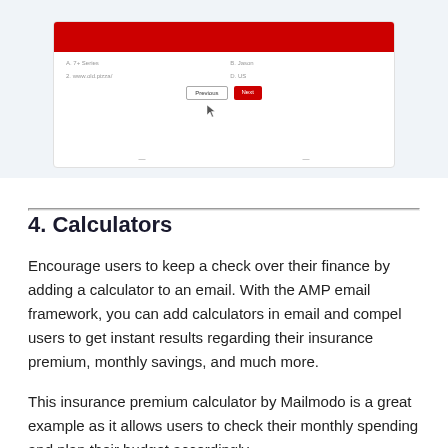[Figure (screenshot): Screenshot of an email calculator interface with a red header bar, form fields with labels and values, a cursor icon hovering over a button row, and Previous/Next buttons at the bottom of the form.]
Previous  Next
4. Calculators
Encourage users to keep a check over their finance by adding a calculator to an email. With the AMP email framework, you can add calculators in email and compel users to get instant results regarding their insurance premium, monthly savings, and much more.
This insurance premium calculator by Mailmodo is a great example as it allows users to check their monthly spending and plan their budget accordingly.